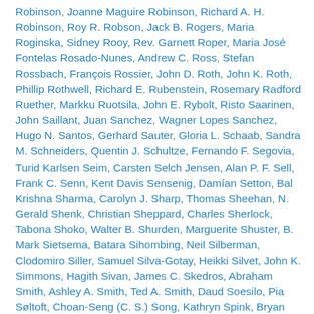Robinson, Joanne Maguire Robinson, Richard A. H. Robinson, Roy R. Robson, Jack B. Rogers, Maria Roginska, Sidney Rooy, Rev. Garnett Roper, Maria José Fontelas Rosado-Nunes, Andrew C. Ross, Stefan Rossbach, François Rossier, John D. Roth, John K. Roth, Phillip Rothwell, Richard E. Rubenstein, Rosemary Radford Ruether, Markku Ruotsila, John E. Rybolt, Risto Saarinen, John Saillant, Juan Sanchez, Wagner Lopes Sanchez, Hugo N. Santos, Gerhard Sauter, Gloria L. Schaab, Sandra M. Schneiders, Quentin J. Schultze, Fernando F. Segovia, Turid Karlsen Seim, Carsten Selch Jensen, Alan P. F. Sell, Frank C. Senn, Kent Davis Sensenig, Damían Setton, Bal Krishna Sharma, Carolyn J. Sharp, Thomas Sheehan, N. Gerald Shenk, Christian Sheppard, Charles Sherlock, Tabona Shoko, Walter B. Shurden, Marguerite Shuster, B. Mark Sietsema, Batara Sihombing, Neil Silberman, Clodomiro Siller, Samuel Silva-Gotay, Heikki Silvet, John K. Simmons, Hagith Sivan, James C. Skedros, Abraham Smith, Ashley A. Smith, Ted A. Smith, Daud Soesilo, Pia Søltoft, Choan-Seng (C. S.) Song, Kathryn Spink, Bryan Spinks, Eric O. Springsted, Nicolas Standaert, Brian Stanley, Glen H. Stassen,